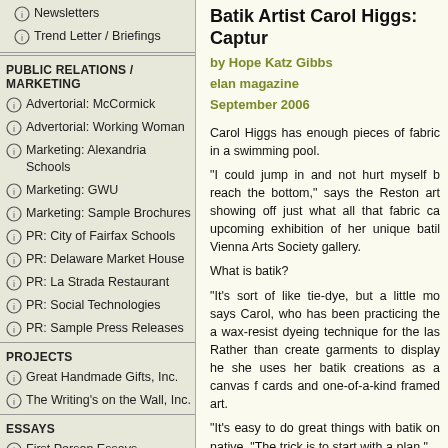Newsletters
Trend Letter / Briefings
PUBLIC RELATIONS / MARKETING
Advertorial: McCormick
Advertorial: Working Woman
Marketing: Alexandria Schools
Marketing: GWU
Marketing: Sample Brochures
PR: City of Fairfax Schools
PR: Delaware Market House
PR: La Strada Restaurant
PR: Social Technologies
PR: Sample Press Releases
PROJECTS
Great Handmade Gifts, Inc.
The Writing's on the Wall, Inc.
ESSAYS
First Person Essays
Short Story
Batik Artist Carol Higgs: Captur
by Hope Katz Gibbs
elan magazine
September 2006
Carol Higgs has enough pieces of fabric in a swimming pool. "I could jump in and not hurt myself b reach the bottom," says the Reston art showing off just what all that fabric ca upcoming exhibition of her unique batil Vienna Arts Society gallery.

What is batik?

"It's sort of like tie-dye, but a little mo says Carol, who has been practicing the a wax-resist dyeing technique for the las Rather than create garments to display he she uses her batik creations as a canvas f cards and one-of-a-kind framed art.

"It's easy to do great things with batik on native. "The trick is to start with a plan."
Read entire article